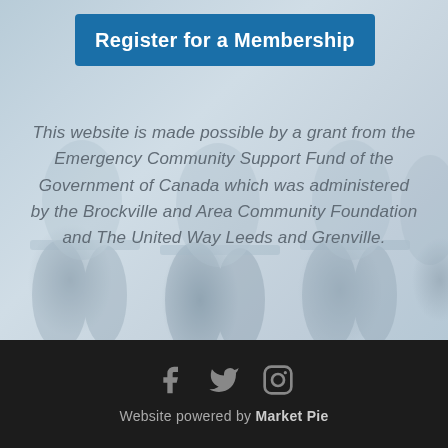Register for a Membership
This website is made possible by a grant from the Emergency Community Support Fund of the Government of Canada which was administered by the Brockville and Area Community Foundation and The United Way Leeds and Grenville.
[Figure (infographic): Social media icons: Facebook (f), Twitter (bird), Instagram (camera)]
Website powered by Market Pie